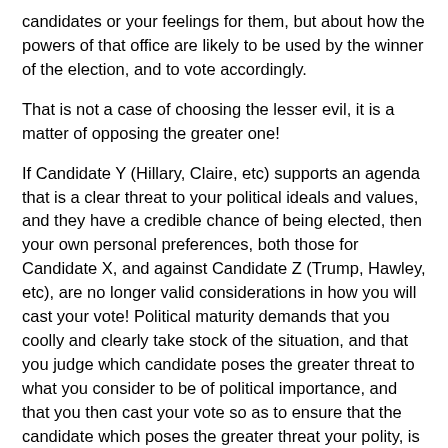candidates or your feelings for them, but about how the powers of that office are likely to be used by the winner of the election, and to vote accordingly.
That is not a case of choosing the lesser evil, it is a matter of opposing the greater one!
If Candidate Y (Hillary, Claire, etc) supports an agenda that is a clear threat to your political ideals and values, and they have a credible chance of being elected, then your own personal preferences, both those for Candidate X, and against Candidate Z (Trump, Hawley, etc), are no longer valid considerations in how you will cast your vote! Political maturity demands that you coolly and clearly take stock of the situation, and that you judge which candidate poses the greater threat to what you consider to be of political importance, and that you then cast your vote so as to ensure that the candidate which poses the greater threat your polity, is defeated in the general election.
If you fail to hold what will result from the election as your main concern, then you are putting your ego and vanity